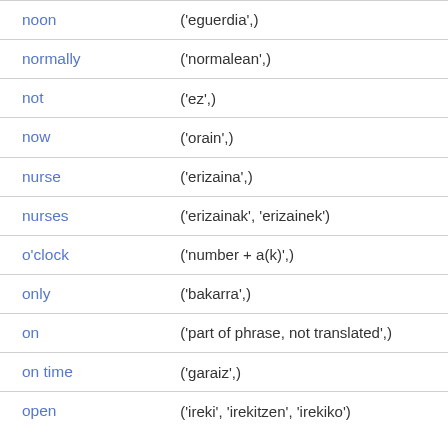| word | translation |
| --- | --- |
| noon | ('eguerdia',) |
| normally | ('normalean',) |
| not | ('ez',) |
| now | ('orain',) |
| nurse | ('erizaina',) |
| nurses | ('erizainak', 'erizainek') |
| o'clock | ('number + a(k)',) |
| only | ('bakarra',) |
| on | ('part of phrase, not translated',) |
| on time | ('garaiz',) |
| open | ('ireki', 'irekitzen', 'irekiko') |